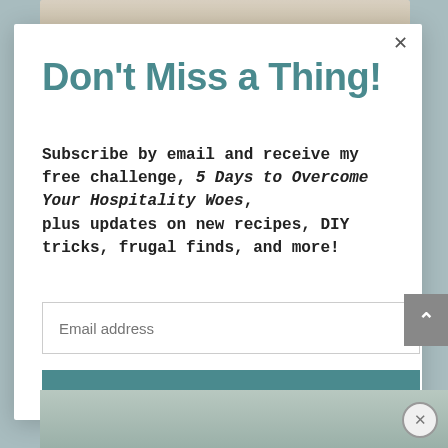[Figure (screenshot): Background showing a blurred lifestyle/food photo with teal overlay]
Don't Miss a Thing!
Subscribe by email and receive my free challenge, 5 Days to Overcome Your Hospitality Woes, plus updates on new recipes, DIY tricks, frugal finds, and more!